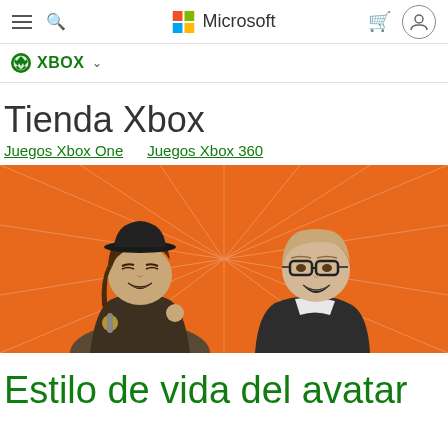Microsoft Xbox Store navigation header
Tienda Xbox
Juegos Xbox One   Juegos Xbox 360
[Figure (illustration): Two Xbox avatar characters on an orange background — one female with a black bowler hat holding a microphone, one male with dark-rimmed glasses wearing a dark jacket, both smiling.]
Estilo de vida del avatar